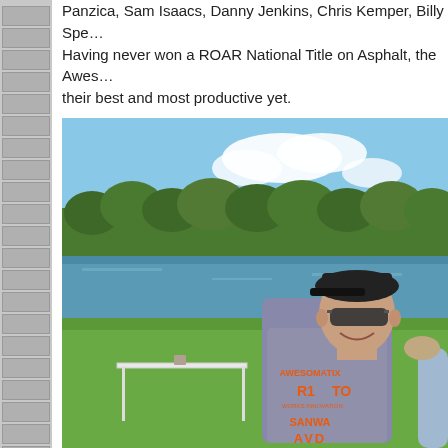Panzica, Sam Isaacs, Danny Jenkins, Chris Kemper, Billy Sper... Having never won a ROAR National Title on Asphalt, the Aweso... their best and most productive yet.
[Figure (photo): A man wearing a gray t-shirt with orange Awesomatix, R1, Sanwa, and Avid branding logos, dark sunglasses and a dark baseball cap, smiling outdoors near a body of water with trees in the background. A white folding table is visible to his left. Another person's arm/shoulder is visible at right edge.]